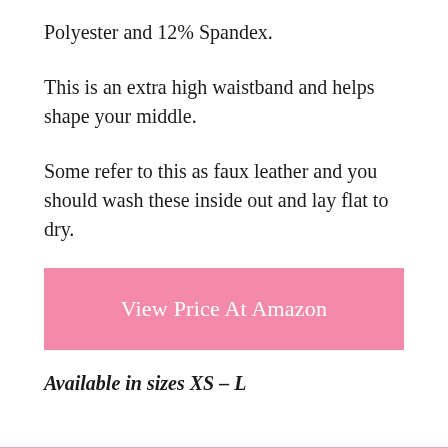Polyester and 12% Spandex.
This is an extra high waistband and helps shape your middle.
Some refer to this as faux leather and you should wash these inside out and lay flat to dry.
[Figure (other): Pink button labeled 'View Price At Amazon']
Available in sizes XS – L